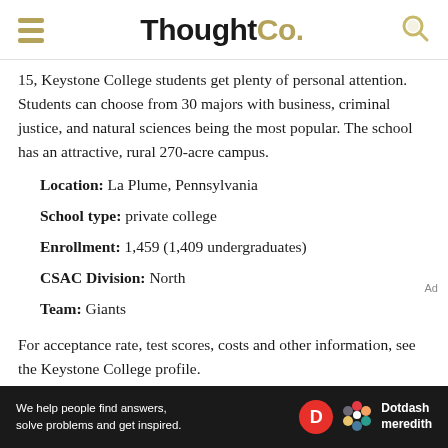ThoughtCo.
15, Keystone College students get plenty of personal attention. Students can choose from 30 majors with business, criminal justice, and natural sciences being the most popular. The school has an attractive, rural 270-acre campus.
Location: La Plume, Pennsylvania
School type: private college
Enrollment: 1,459 (1,409 undergraduates)
CSAC Division: North
Team: Giants
For acceptance rate, test scores, costs and other information, see the Keystone College profile.